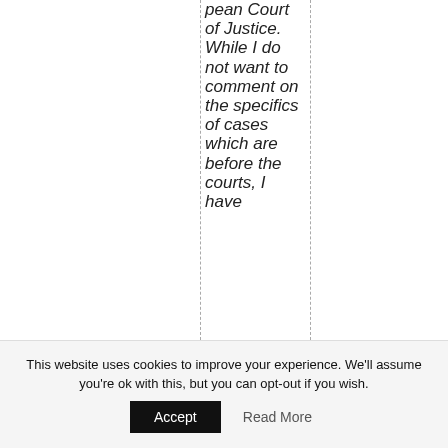pean Court of Justice. While I do not want to comment on the specifics of cases which are before the courts, I have
This website uses cookies to improve your experience. We'll assume you're ok with this, but you can opt-out if you wish.